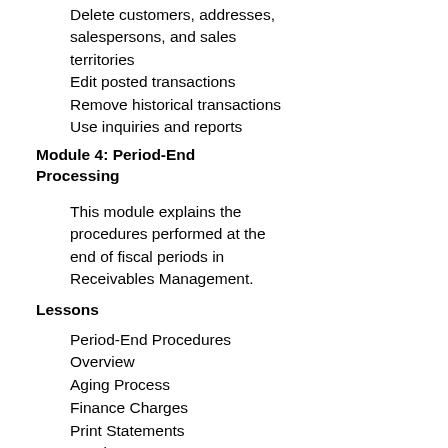Delete customers, addresses, salespersons, and sales territories
Edit posted transactions
Remove historical transactions
Use inquiries and reports
Module 4: Period-End Processing
This module explains the procedures performed at the end of fiscal periods in Receivables Management.
Lessons
Period-End Procedures
Overview
Aging Process
Finance Charges
Print Statements
Reprint Statements
Paid Sales Transactions